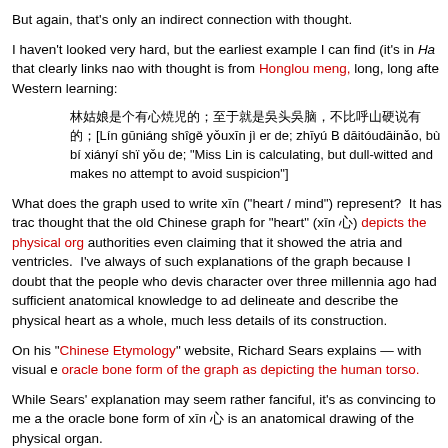But again, that's only an indirect connection with thought.
I haven't looked very hard, but the earliest example I can find (it's in Ha that clearly links nao with thought is from Honglou meng, long, long after Western learning:
[Lin gūniáng shigě yǒuxīn ji er de; zhīyú B dāitóudāinǎo, bù bi xiányi shi yǒu de; "Miss Lin is calculating, but dull-witted and makes no attempt to avoid suspicion"]
What does the graph used to write xīn ("heart / mind") represent?  It has tra thought that the old Chinese graph for "heart" (xīn 心) depicts the physical org authorities even claiming that it showed the atria and ventricles. I've always of such explanations of the graph because I doubt that the people who devis character over three millennia ago had sufficient anatomical knowledge to ad delineate and describe the physical heart as a whole, much less details of its construction.
On his "Chinese Etymology" website, Richard Sears explains — with visual e oracle bone form of the graph as depicting the human torso.
While Sears' explanation may seem rather fanciful, it's as convincing to me a the oracle bone form of xīn 心 is an anatomical drawing of the physical organ.